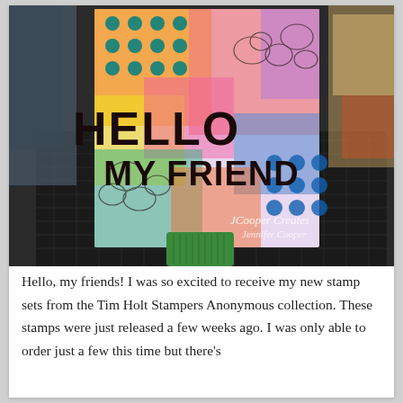[Figure (photo): A handmade greeting card with colorful mixed-media background featuring floral patterns, polka dots in teal and blue, and bright paint colors (orange, yellow, pink, purple). Bold black stamped text reads 'HELLO MY FRIEND'. The card stands upright on a green acrylic block/stamp positioner on a cutting mat. A watermark reads 'JCooper Creates / Jennifer Cooper'. The background shows a crafting workspace.]
Hello, my friends! I was so excited to receive my new stamp sets from the Tim Holt Stampers Anonymous collection. These stamps were just released a few weeks ago. I was only able to order just a few this time but there's